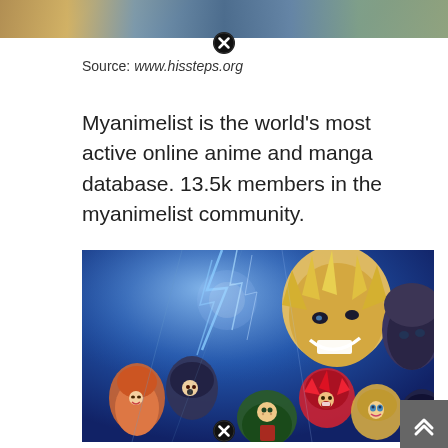[Figure (photo): Top strip showing partial anime image/banner]
Source: www.hissteps.org
Myanimelist is the world's most active online anime and manga database. 13.5k members in the myanimelist community.
[Figure (photo): My Hero Academia anime promotional artwork showing multiple characters including All Might and Class 1-A students against a blue lightning background]